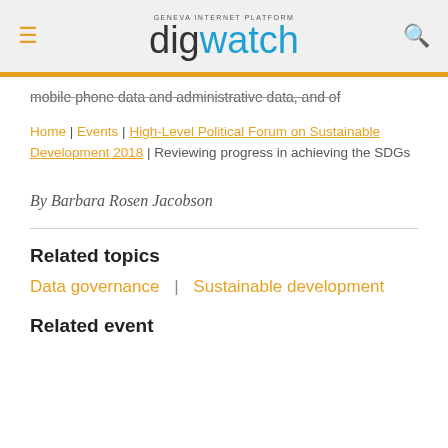digwatch — Geneva Internet Platform
mobile phone data and administrative data, and of
Home | Events | High-Level Political Forum on Sustainable Development 2018 | Reviewing progress in achieving the SDGs
By Barbara Rosen Jacobson
Related topics
Data governance  |  Sustainable development
Related event